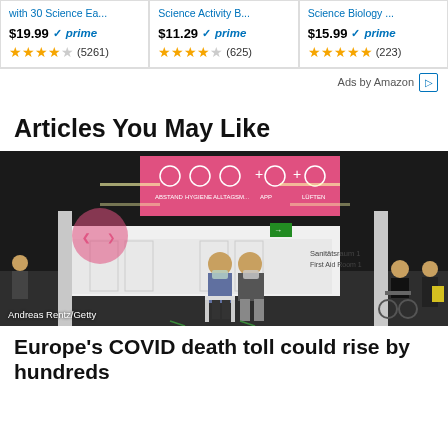[Figure (other): Amazon product ad cards showing three science books with prices $19.99, $11.29, $15.99, all with Prime badge and star ratings (5261), (625), (223) reviews]
Ads by Amazon
Articles You May Like
[Figure (photo): Photo of a vaccination scene in a large hall: a doctor administering a vaccine to an elderly woman seated in a chair; pink screen in background showing COVID hygiene icons; sign reading 'Sanitätsraum 1 / First Aid Room 1' on right wall; masked attendees in background.]
Andreas Rentz/Getty
Europe's COVID death toll could rise by hundreds